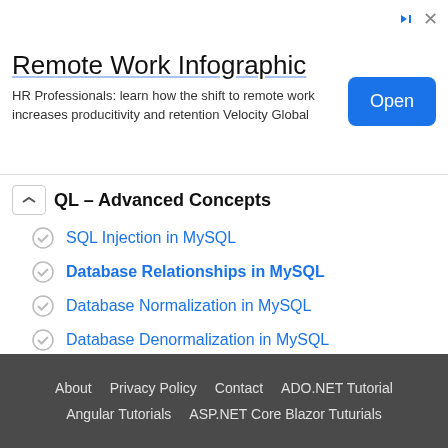[Figure (other): Advertisement banner for Remote Work Infographic by Velocity Global with an Open button]
MySQL – Advanced Concepts
SQL Injection in MySQL
Database Relationships in MySQL
Database Normalization in MySQL
Database Denormalization in MySQL
MySQL – Popular Books
Most Recommended MySQL Books
Most Recommended MySQL DBA Books
About  Privacy Policy  Contact  ADO.NET Tutorial  Angular Tutorials  ASP.NET Core Blazor Tuturials